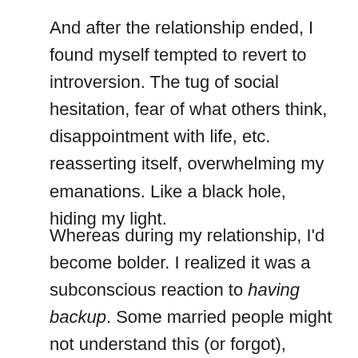And after the relationship ended, I found myself tempted to revert to introversion. The tug of social hesitation, fear of what others think, disappointment with life, etc. reasserting itself, overwhelming my emanations. Like a black hole, hiding my light.
Whereas during my relationship, I'd become bolder. I realized it was a subconscious reaction to having backup. Some married people might not understand this (or forgot),